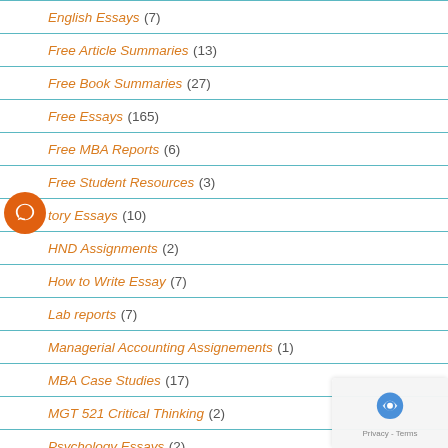English Essays (7)
Free Article Summaries (13)
Free Book Summaries (27)
Free Essays (165)
Free MBA Reports (6)
Free Student Resources (3)
History Essays (10)
HND Assignments (2)
How to Write Essay (7)
Lab reports (7)
Managerial Accounting Assignements (1)
MBA Case Studies (17)
MGT 521 Critical Thinking (2)
Psychology Essays (2)